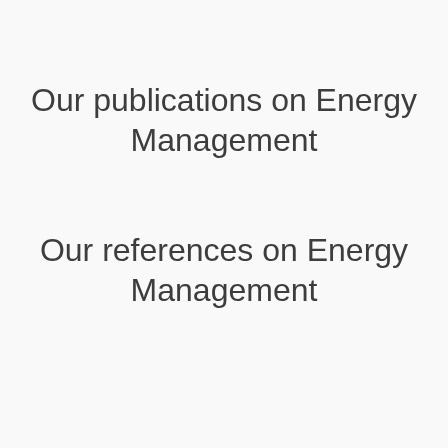Our publications on Energy Management
Our references on Energy Management